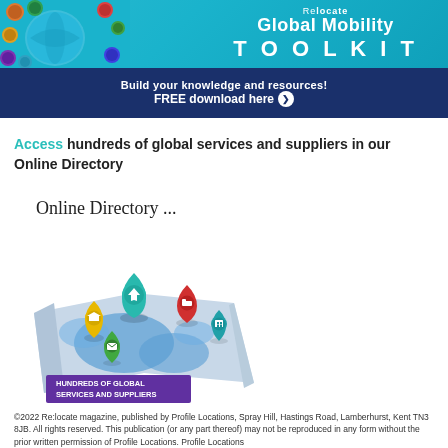[Figure (illustration): Relocate Global Mobility Toolkit banner with teal background showing world globe, people, and text 'Relocate Global Mobility TOOLKIT'. Below is a dark navy bar with text 'Build your knowledge and resources! FREE download here ❯']
Access hundreds of global services and suppliers in our Online Directory
[Figure (illustration): Online Directory promotional graphic showing a folded world map with location pin icons (graduation cap, airplane, bed, envelope, building) and a purple banner reading 'HUNDREDS OF GLOBAL SERVICES AND SUPPLIERS']
©2022 Re:locate magazine, published by Profile Locations, Spray Hill, Hastings Road, Lamberhurst, Kent TN3 8JB. All rights reserved. This publication (or any part thereof) may not be reproduced in any form without the prior written permission of Profile Locations. Profile Locations